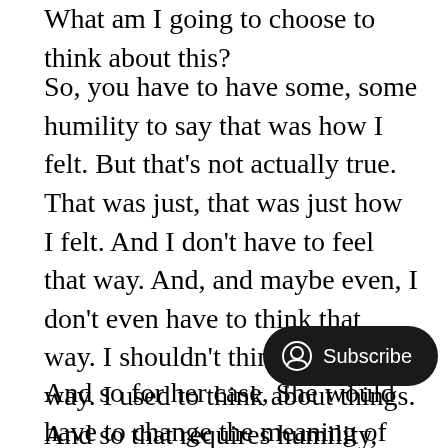What am I going to choose to think about this?
So, you have to have some, some humility to say that was how I felt. But that’s not actually true. That was just, that was just how I felt. And I don’t have to feel that way. And, and maybe even, I don’t even have to think that way. I shouldn’t think the same way. I used to think about things. And so that requires humility, humility to say the former version of this story, wasn’t the best version of the story for me and for my goals.
And so for her case, She would have to change the meaning of that story. And, and part of that is journaling about it, writing about how it impacte talking with people who can help he I’m a big fan of either therapy or coaching is cause you